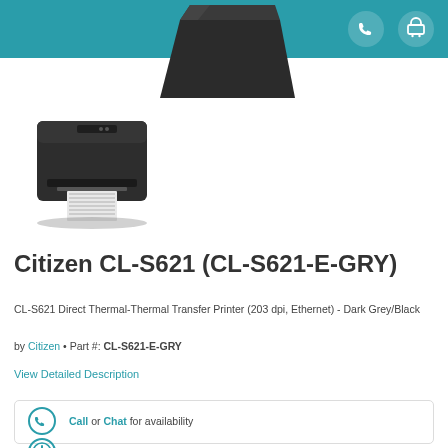[Figure (photo): Dark box/top portion of Citizen CL-S621 printer against white background, partially cropped at top]
[Figure (photo): Citizen CL-S621 label printer, dark grey/black, with label roll output, thumbnail product image]
Citizen CL-S621 (CL-S621-E-GRY)
CL-S621 Direct Thermal-Thermal Transfer Printer (203 dpi, Ethernet) - Dark Grey/Black
by Citizen • Part #: CL-S621-E-GRY
View Detailed Description
Call or Chat for availability
Usually Ships Same Day
Free Shipping for most products over $125